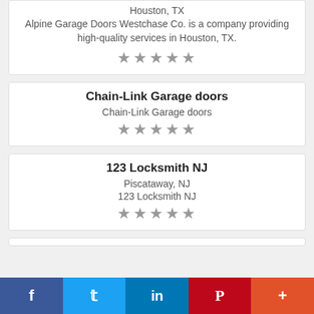Houston, TX
Alpine Garage Doors Westchase Co. is a company providing high-quality services in Houston, TX.
★★★★★
Chain-Link Garage doors
Chain-Link Garage doors
★★★★★
123 Locksmith NJ
Piscataway, NJ
123 Locksmith NJ
★★★★★
[Figure (other): Social sharing bar with Facebook, Twitter, LinkedIn, Pinterest, and More buttons]